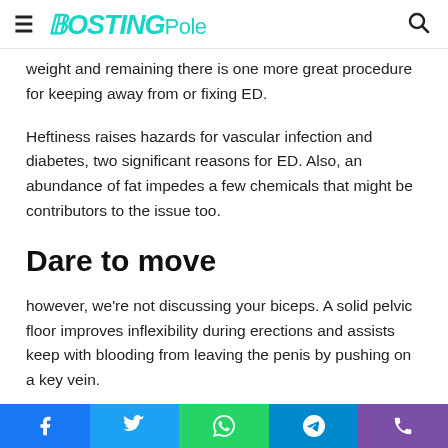PostingPole
weight and remaining there is one more great procedure for keeping away from or fixing ED.
Heftiness raises hazards for vascular infection and diabetes, two significant reasons for ED. Also, an abundance of fat impedes a few chemicals that might be contributors to the issue too.
Dare to move
however, we're not discussing your biceps. A solid pelvic floor improves inflexibility during erections and assists keep with blooding from leaving the penis by pushing on a key vein.